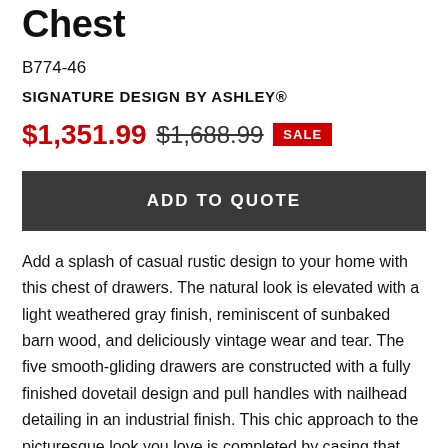Chest
B774-46
SIGNATURE DESIGN BY ASHLEY®
$1,351.99  $1,688.99  SALE
ADD TO QUOTE
Add a splash of casual rustic design to your home with this chest of drawers. The natural look is elevated with a light weathered gray finish, reminiscent of sunbaked barn wood, and deliciously vintage wear and tear. The five smooth-gliding drawers are constructed with a fully finished dovetail design and pull handles with nailhead detailing in an industrial finish. This chic approach to the picturesque look you love is completed by casing that features a natural contemporary design with metal leg brackets finished in a textural dark